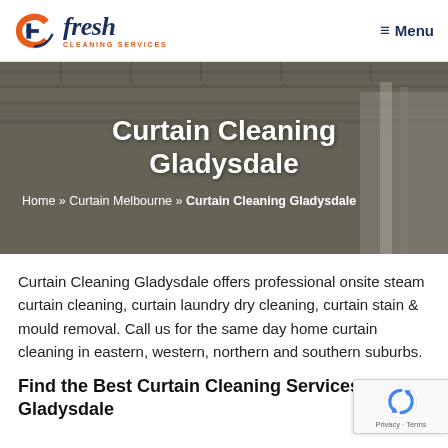Fresh Cleaning Services — Menu
[Figure (logo): Fresh Cleaning Services logo with orange swirl icon and dark navy italic text]
Curtain Cleaning Gladysdale
Home » Curtain Melbourne » Curtain Cleaning Gladysdale
Curtain Cleaning Gladysdale offers professional onsite steam curtain cleaning, curtain laundry dry cleaning, curtain stain & mould removal. Call us for the same day home curtain cleaning in eastern, western, northern and southern suburbs.
Find the Best Curtain Cleaning Services Gladysdale